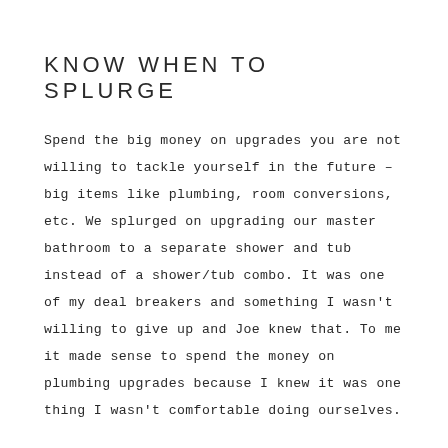KNOW WHEN TO SPLURGE
Spend the big money on upgrades you are not willing to tackle yourself in the future – big items like plumbing, room conversions, etc. We splurged on upgrading our master bathroom to a separate shower and tub instead of a shower/tub combo. It was one of my deal breakers and something I wasn't willing to give up and Joe knew that. To me it made sense to spend the money on plumbing upgrades because I knew it was one thing I wasn't comfortable doing ourselves.